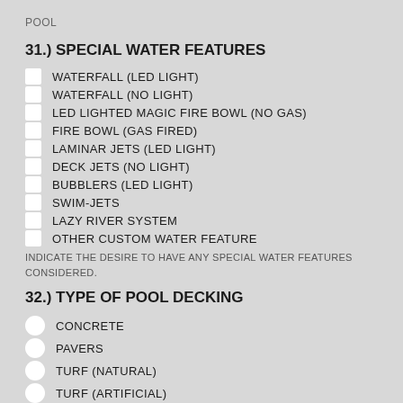POOL
31.) SPECIAL WATER FEATURES
WATERFALL (LED LIGHT)
WATERFALL (NO LIGHT)
LED LIGHTED MAGIC FIRE BOWL (NO GAS)
FIRE BOWL (GAS FIRED)
LAMINAR JETS (LED LIGHT)
DECK JETS (NO LIGHT)
BUBBLERS (LED LIGHT)
SWIM-JETS
LAZY RIVER SYSTEM
OTHER CUSTOM WATER FEATURE
INDICATE THE DESIRE TO HAVE ANY SPECIAL WATER FEATURES CONSIDERED.
32.) TYPE OF POOL DECKING
CONCRETE
PAVERS
TURF (NATURAL)
TURF (ARTIFICIAL)
OVERLAY STONE (ON RAT SLAB)